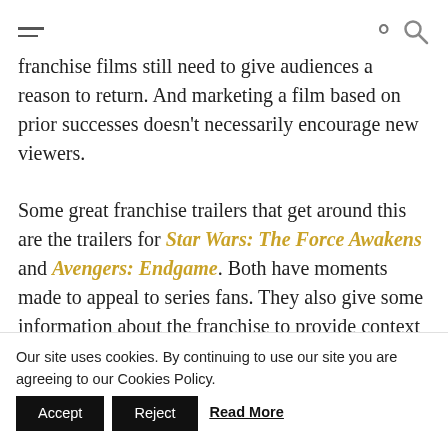[hamburger menu icon] [search icon]
franchise films still need to give audiences a reason to return. And marketing a film based on prior successes doesn't necessarily encourage new viewers.
Some great franchise trailers that get around this are the trailers for Star Wars: The Force Awakens and Avengers: Endgame. Both have moments made to appeal to series fans. They also give some information about the franchise to provide context for general audiences while also leaving out a lot of
Our site uses cookies. By continuing to use our site you are agreeing to our Cookies Policy. Accept Reject Read More